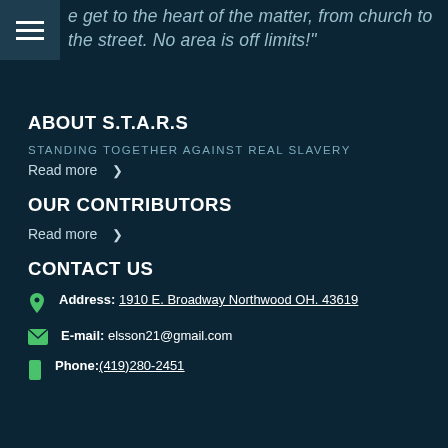e get to the heart of the matter, from church to the street. No area is off limits!"
ABOUT S.T.A.R.S
STANDING TOGETHER AGAINST REAL SLAVERY
Read more >
OUR CONTRIBUTORS
Read more >
CONTACT US
Address: 1910 E. Broadway Northwood OH. 43619
E-mail: elsson21@gmail.com
Phone:(419)280-2451